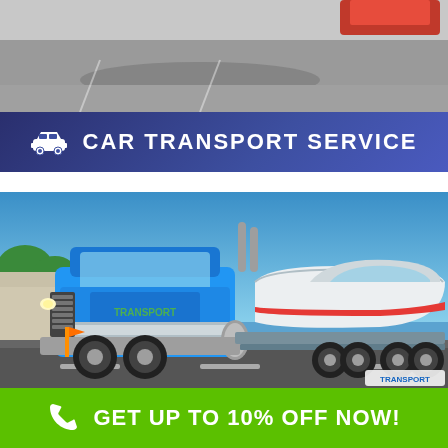[Figure (photo): Top portion of a vehicle or truck on pavement, partially cropped]
CAR TRANSPORT SERVICE
[Figure (photo): A large blue semi-truck (Kenworth) hauling a white speedboat on a flatbed trailer in a parking lot under a clear blue sky. The truck has 'TRANSPORT' written on it.]
GET UP TO 10% OFF NOW!